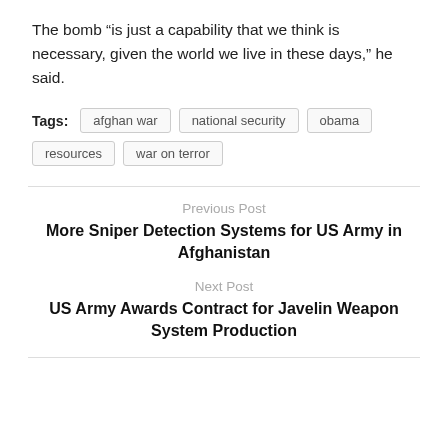The bomb “is just a capability that we think is necessary, given the world we live in these days,” he said.
Tags: afghan war  national security  obama  resources  war on terror
Previous Post
More Sniper Detection Systems for US Army in Afghanistan
Next Post
US Army Awards Contract for Javelin Weapon System Production